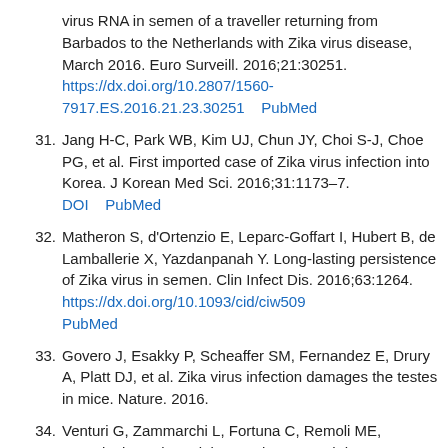virus RNA in semen of a traveller returning from Barbados to the Netherlands with Zika virus disease, March 2016. Euro Surveill. 2016;21:30251. https://dx.doi.org/10.2807/1560-7917.ES.2016.21.23.30251    PubMed
31. Jang H-C, Park WB, Kim UJ, Chun JY, Choi S-J, Choe PG, et al. First imported case of Zika virus infection into Korea. J Korean Med Sci. 2016;31:1173–7. DOI    PubMed
32. Matheron S, d'Ortenzio E, Leparc-Goffart I, Hubert B, de Lamballerie X, Yazdanpanah Y. Long-lasting persistence of Zika virus in semen. Clin Infect Dis. 2016;63:1264. https://dx.doi.org/10.1093/cid/ciw509 PubMed
33. Govero J, Esakky P, Scheaffer SM, Fernandez E, Drury A, Platt DJ, et al. Zika virus infection damages the testes in mice. Nature. 2016.
34. Venturi G, Zammarchi L, Fortuna C, Remoli ME, Benedetti E, Fiorentini C, et al. An autochthonous case of Zika due to